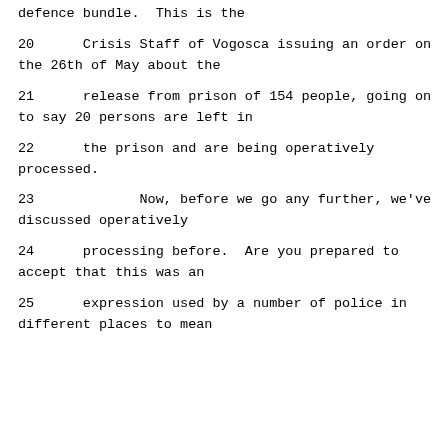defence bundle.  This is the
20      Crisis Staff of Vogosca issuing an order on the 26th of May about the
21      release from prison of 154 people, going on to say 20 persons are left in
22      the prison and are being operatively processed.
23             Now, before we go any further, we've discussed operatively
24      processing before.  Are you prepared to accept that this was an
25      expression used by a number of police in different places to mean